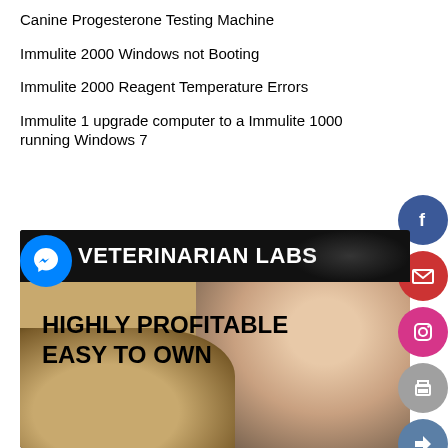Canine Progesterone Testing Machine
Immulite 2000 Windows not Booting
Immulite 2000 Reagent Temperature Errors
Immulite 1 upgrade computer to a Immulite 1000 running Windows 7
[Figure (photo): Veterinarian Labs promotional image showing a golden retriever dog and a female veterinarian smiling, with text 'HIGHLY PROFITABLE EASY TO OWN' overlaid on a dark banner reading 'VETERINARIAN LABS'. Social media icons (Facebook, email, Instagram, print, share, WhatsApp) are visible on the right side, and a Messenger icon on the left.]